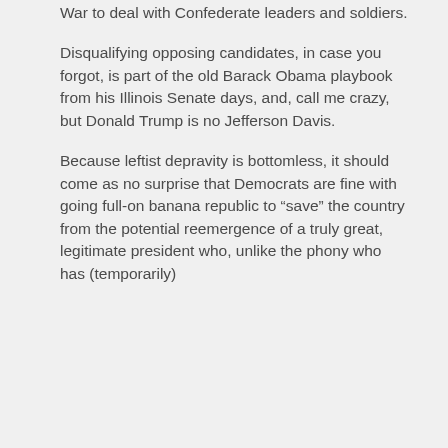War to deal with Confederate leaders and soldiers.
Disqualifying opposing candidates, in case you forgot, is part of the old Barack Obama playbook from his Illinois Senate days, and, call me crazy, but Donald Trump is no Jefferson Davis.
Because leftist depravity is bottomless, it should come as no surprise that Democrats are fine with going full-on banana republic to “save” the country from the potential reemergence of a truly great, legitimate president who, unlike the phony who has (temporarily)